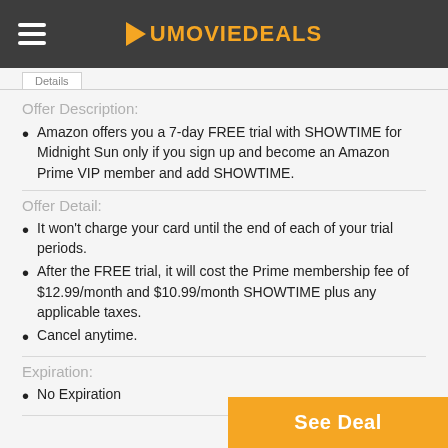UMovieDeals
Offer Description:
Amazon offers you a 7-day FREE trial with SHOWTIME for Midnight Sun only if you sign up and become an Amazon Prime VIP member and add SHOWTIME.
Offer Detail:
It won't charge your card until the end of each of your trial periods.
After the FREE trial, it will cost the Prime membership fee of $12.99/month and $10.99/month SHOWTIME plus any applicable taxes.
Cancel anytime.
Expiration:
No Expiration